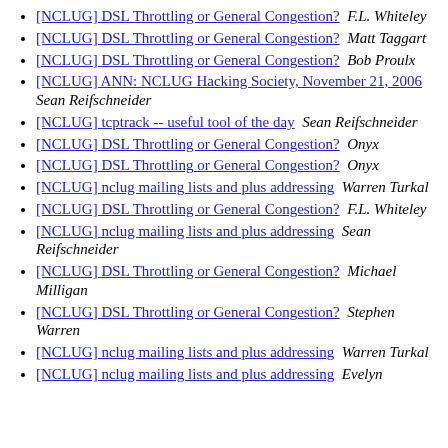[NCLUG] DSL Throttling or General Congestion?  F.L. Whiteley
[NCLUG] DSL Throttling or General Congestion?  Matt Taggart
[NCLUG] DSL Throttling or General Congestion?  Bob Proulx
[NCLUG] ANN: NCLUG Hacking Society, November 21, 2006  Sean Reifschneider
[NCLUG] tcptrack -- useful tool of the day  Sean Reifschneider
[NCLUG] DSL Throttling or General Congestion?  Onyx
[NCLUG] DSL Throttling or General Congestion?  Onyx
[NCLUG] nclug mailing lists and plus addressing  Warren Turkal
[NCLUG] DSL Throttling or General Congestion?  F.L. Whiteley
[NCLUG] nclug mailing lists and plus addressing  Sean Reifschneider
[NCLUG] DSL Throttling or General Congestion?  Michael Milligan
[NCLUG] DSL Throttling or General Congestion?  Stephen Warren
[NCLUG] nclug mailing lists and plus addressing  Warren Turkal
[NCLUG] nclug mailing lists and plus addressing  Evelyn